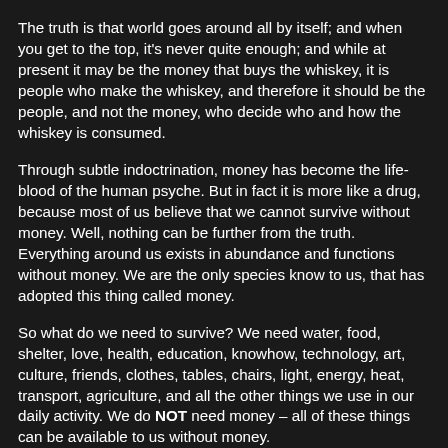The truth is that world goes around all by itself; and when you get to the top, it's never quite enough; and while at present it may be the money that buys the whiskey, it is people who make the whiskey, and therefore it should be the people, and not the money, who decide who and how the whiskey is consumed.
Through subtle indoctrination, money has become the life-blood of the human psyche. But in fact it is more like a drug, because most of us believe that we cannot survive without money. Well, nothing can be further from the truth. Everything around us exists in abundance and functions without money. We are the only species know to us, that has adopted this thing called money.
So what do we need to survive? We need water, food, shelter, love, health, education, knowhow, technology, art, culture, friends, clothes, tables, chairs, light, energy, heat, transport, agriculture, and all the other things we use in our daily activity. We do NOT need money – all of these things can be available to us without money.